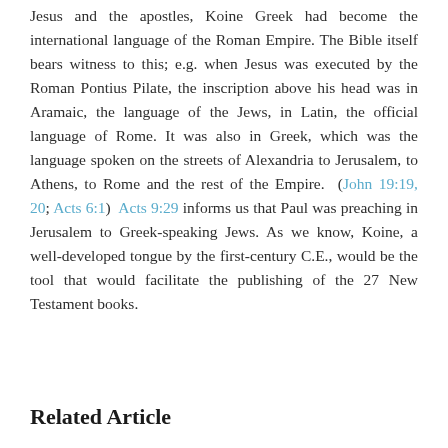Jesus and the apostles, Koine Greek had become the international language of the Roman Empire. The Bible itself bears witness to this; e.g. when Jesus was executed by the Roman Pontius Pilate, the inscription above his head was in Aramaic, the language of the Jews, in Latin, the official language of Rome. It was also in Greek, which was the language spoken on the streets of Alexandria to Jerusalem, to Athens, to Rome and the rest of the Empire. (John 19:19, 20; Acts 6:1) Acts 9:29 informs us that Paul was preaching in Jerusalem to Greek-speaking Jews. As we know, Koine, a well-developed tongue by the first-century C.E., would be the tool that would facilitate the publishing of the 27 New Testament books.
Related Article